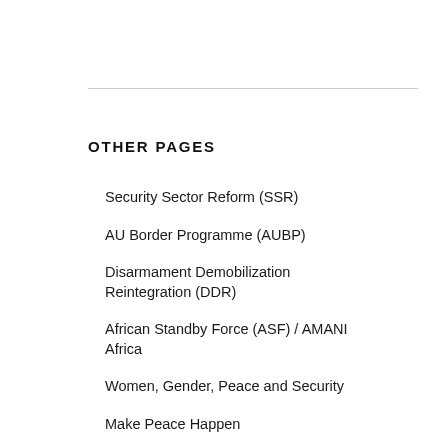OTHER PAGES
Security Sector Reform (SSR)
AU Border Programme (AUBP)
Disarmament Demobilization Reintegration (DDR)
African Standby Force (ASF) / AMANI Africa
Women, Gender, Peace and Security
Make Peace Happen
African Peace and Security Architecture (APSA)